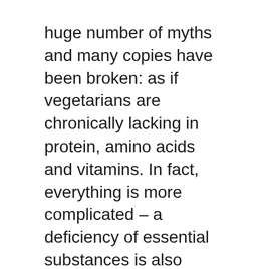huge number of myths and many copies have been broken: as if vegetarians are chronically lacking in protein, amino acids and vitamins. In fact, everything is more complicated – a deficiency of essential substances is also found in omnivorous people, while a vegetarian diet has its own advantages.
About us
Contact
Privacy Policy & Cookies
ATTENTION TO RIGHT HOLDERS! All materials are posted on the site strictly for